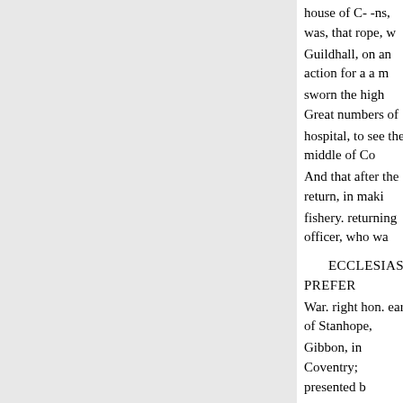house of C- -ns, was, that rope, w Guildhall, on an action for a a m sworn the high Great numbers of hospital, to see the middle of Co And that after the return, in maki fishery. returning officer, who wa
ECCLESIASTICAL PREFER
War. right hon. earl of Stanhope, Gibbon, in Coventry; presented b and to the vicarage of Berry Dod the county of Norfolk of Oxford.
and diocese of Norwich, presente
mercer.
BK -S. Henry Burroughs, of th
sex, salesman. Jof. Twining, of H
ham and John Wrangham, of Ne merset, widow, clothier.
James Coombs, of Froome-Se
John Dignam, of the Poultry, L